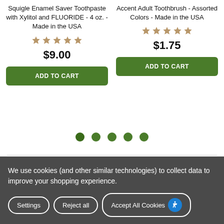Squigle Enamel Saver Toothpaste with Xylitol and FLUORIDE - 4 oz. - Made in the USA
Accent Adult Toothbrush - Assorted Colors - Made in the USA
$9.00
$1.75
ADD TO CART
ADD TO CART
We use cookies (and other similar technologies) to collect data to improve your shopping experience.
Settings
Reject all
Accept All Cookies